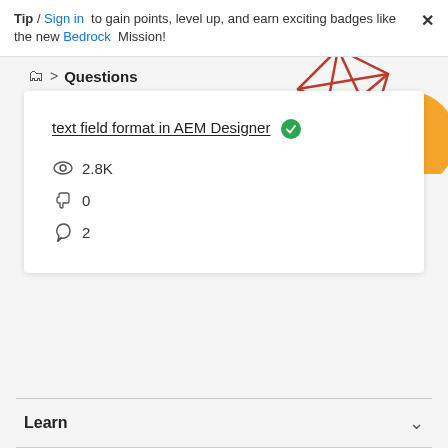Tip / Sign in to gain points, level up, and earn exciting badges like the new Bedrock Mission! ×
🗂 > Questions
text field format in AEM Designer ✓
👁 2.8K
👍 0
↩ 2
Learn